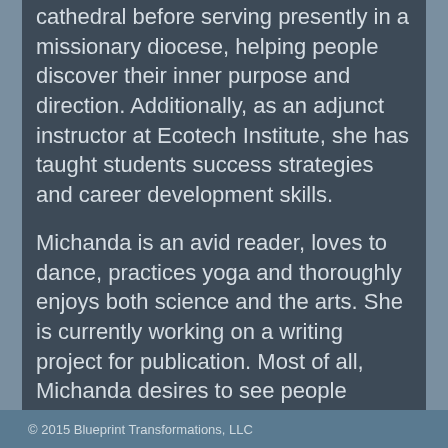cathedral before serving presently in a missionary diocese, helping people discover their inner purpose and direction.  Additionally, as an adjunct instructor at Ecotech Institute, she has taught students success strategies and career development skills.

Michanda is an avid reader, loves to dance, practices yoga and thoroughly enjoys both science and the arts.  She is currently working on a writing project for publication.  Most of all, Michanda desires to see people transform their goals and their lives from mediocrity to magnificence with tangible results as evidence.
© 2015 Blueprint Transformations, LLC